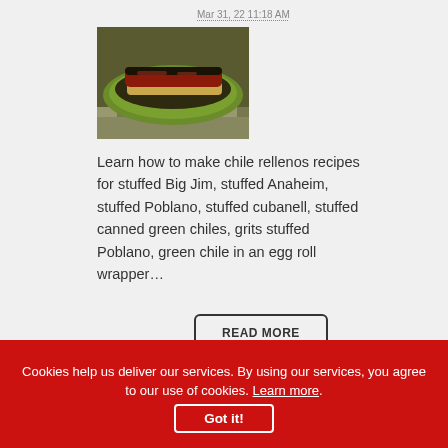Mar 31, 22 11:18 AM
[Figure (photo): A stuffed chile relleno on a green plate, showing melted cheese and red sauce filling, on a checkered tablecloth]
Learn how to make chile rellenos recipes for stuffed Big Jim, stuffed Anaheim, stuffed Poblano, stuffed cubanell, stuffed canned green chiles, grits stuffed Poblano, green chile in an egg roll wrapper…
READ MORE
Cookies help us deliver our services. By using our services, you agree to our use of cookies. Learn more.
Got it!